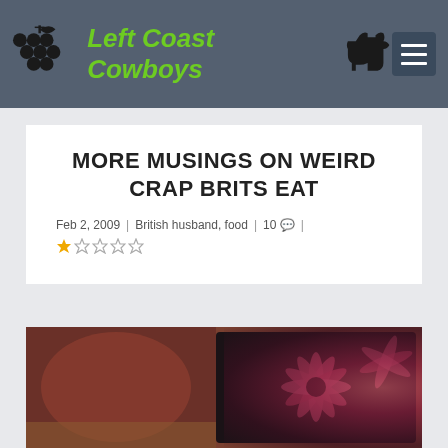Left Coast Cowboys
MORE MUSINGS ON WEIRD CRAP BRITS EAT
Feb 2, 2009 | British husband, food | 10 💬 | ★☆☆☆☆
[Figure (photo): Close-up photo of what appears to be a tin or package with decorative floral pattern in pink/red on dark background, placed on a wooden surface]